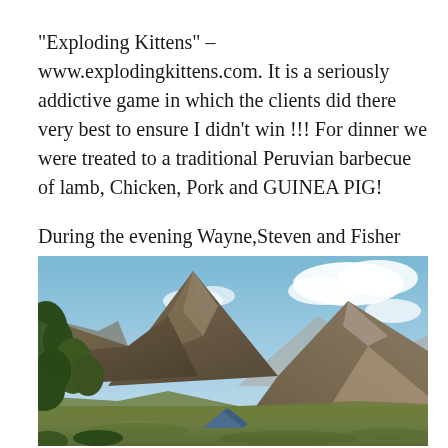“Exploding Kittens” – www.explodingkittens.com. It is a seriously addictive game in which the clients did there very best to ensure I didn’t win !!! For dinner we were treated to a traditional Peruvian barbecue of lamb, Chicken, Pork and GUINEA PIG!
During the evening Wayne,Steven and Fisher (guide) explored the Ancient Inca ruins and produced some stunning imagery of the Milky way and night sky using time lapse photography techniques.
[Figure (photo): Landscape photograph of steep rocky mountain peaks under a partly cloudy blue sky, with sparse vegetation and green trees on the left, and valley with small tent or structure visible at the bottom.]